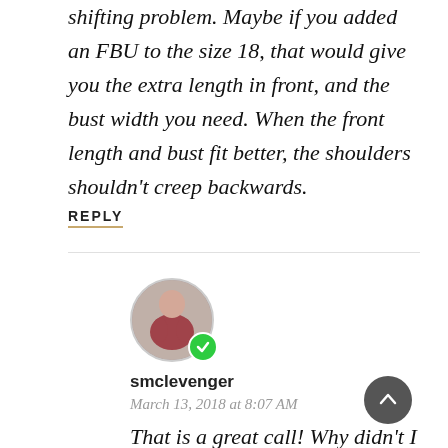shifting problem. Maybe if you added an FBU to the size 18, that would give you the extra length in front, and the bust width you need. When the front length and bust fit better, the shoulders shouldn't creep backwards.
REPLY
[Figure (photo): Circular avatar photo of smclevenger, a woman in a red top, with a green checkmark badge overlay]
smclevenger
March 13, 2018 at 8:07 AM
That is a great call! Why didn't I think of that? Haha!
REPLY